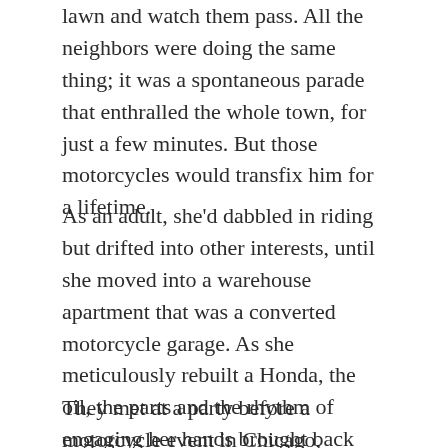lawn and watch them pass. All the neighbors were doing the same thing; it was a spontaneous parade that enthralled the whole town, for just a few minutes. But those motorcycles would transfix him for a lifetime.
As an adult, she'd dabbled in riding but drifted into other interests, until she moved into a warehouse apartment that was a converted motorcycle garage. As she meticulously rebuilt a Honda, the oil, the parts and the rhythm of engaging her hands brought back her love for the mechanics of things.
They met at a party before a motorcycle event in Chicago, introduced by mutual friends. Their meeting wasn't momentous, at first—it was like the peace sign and nod bikers give each other as they pass on the highway, an acknowledgment of mutual respect and inclusion in the same club. But six months later, after their paths continued to cross